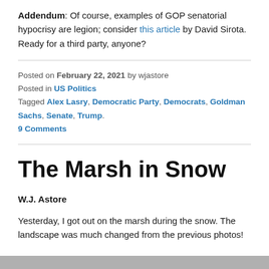Addendum: Of course, examples of GOP senatorial hypocrisy are legion; consider this article by David Sirota. Ready for a third party, anyone?
Posted on February 22, 2021 by wjastore
Posted in US Politics
Tagged Alex Lasry, Democratic Party, Democrats, Goldman Sachs, Senate, Trump.
9 Comments
The Marsh in Snow
W.J. Astore
Yesterday, I got out on the marsh during the snow. The landscape was much changed from the previous photos!
[Figure (photo): Bottom edge of a grey/silver photo partially visible]